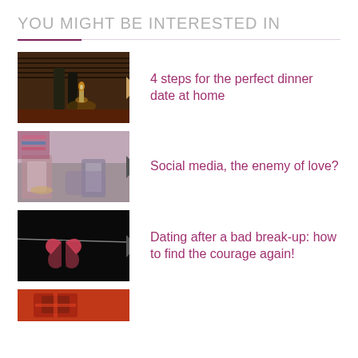YOU MIGHT BE INTERESTED IN
[Figure (photo): Candlelit dinner scene with wine bottles on a dark wooden table]
4 steps for the perfect dinner date at home
[Figure (photo): Couple using smartphones, blurred background]
Social media, the enemy of love?
[Figure (photo): Broken heart on a string against black background]
Dating after a bad break-up: how to find the courage again!
[Figure (photo): Partial image with red/orange tones, bottom of page]